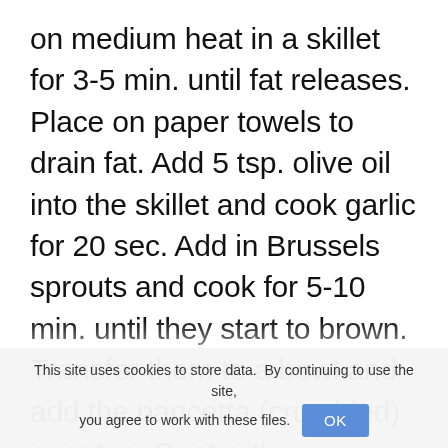on medium heat in a skillet for 3-5 min. until fat releases. Place on paper towels to drain fat. Add 5 tsp. olive oil into the skillet and cook garlic for 20 sec. Add in Brussels sprouts and cook for 5-10 min. until they start to brown. Transfer them to a bowl and add the pancetta (crumbled) over top. Coat with mozzarella cheese and fennel seeds. Add pizza crust to baking sheet and add the entire mixture on top of
This site uses cookies to store data. By continuing to use the site, you agree to work with these files. OK